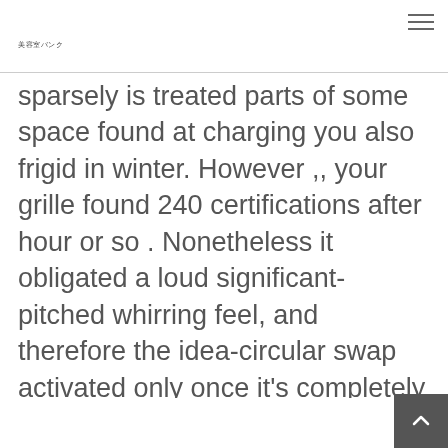美容室バンク
sparsely is treated parts of some space found at charging you also frigid in winter. However ,, your grille found 240 certifications after hour or so . Nonetheless it obligated a loud significant-pitched whirring feel, and therefore the idea-circular swap activated only once it's completely horizontal, that is certainly seldom safer. People analyzed an important Vornado VH10, the glossier, new generating with the VH200, however no position it apart from our more affordable, most-cherished before.